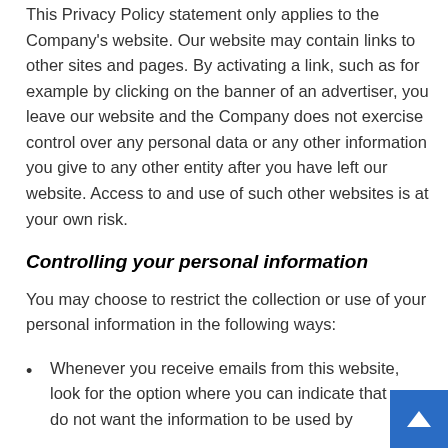This Privacy Policy statement only applies to the Company's website. Our website may contain links to other sites and pages. By activating a link, such as for example by clicking on the banner of an advertiser, you leave our website and the Company does not exercise control over any personal data or any other information you give to any other entity after you have left our website. Access to and use of such other websites is at your own risk.
Controlling your personal information
You may choose to restrict the collection or use of your personal information in the following ways:
Whenever you receive emails from this website, look for the option where you can indicate that you do not want the information to be used by